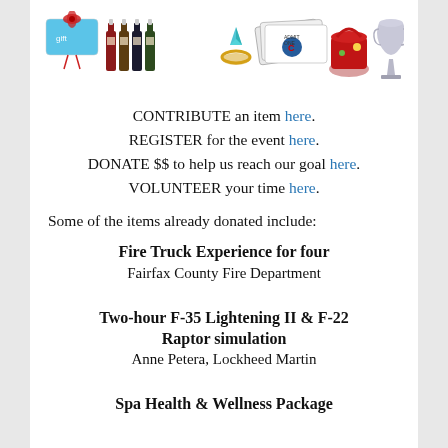[Figure (photo): Strip of auction item photos: gift card, wine bottles, ring, event tickets, picnic basket, trophy/vase]
CONTRIBUTE an item here. REGISTER for the event here. DONATE $$ to help us reach our goal here. VOLUNTEER your time here.
Some of the items already donated include:
Fire Truck Experience for four
Fairfax County Fire Department
Two-hour F-35 Lightening II & F-22 Raptor simulation
Anne Petera, Lockheed Martin
Spa Health & Wellness Package